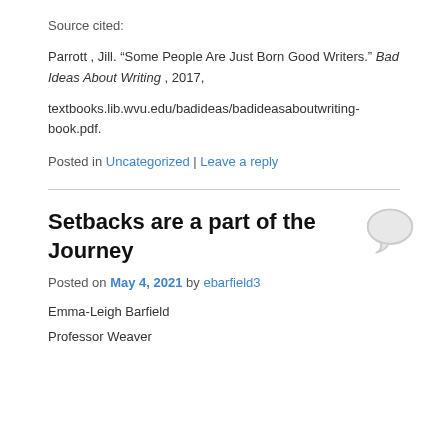Source cited:
Parrott , Jill. “Some People Are Just Born Good Writers.” Bad Ideas About Writing , 2017,
textbooks.lib.wvu.edu/badideas/badideasaboutwriting-book.pdf.
Posted in Uncategorized | Leave a reply
Setbacks are a part of the Journey
Posted on May 4, 2021 by ebarfield3
Emma-Leigh Barfield
Professor Weaver